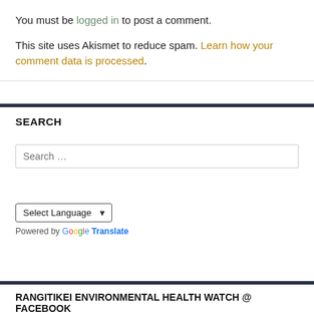You must be logged in to post a comment.
This site uses Akismet to reduce spam. Learn how your comment data is processed.
SEARCH
Search …
Select Language
Powered by Google Translate
RANGITIKEI ENVIRONMENTAL HEALTH WATCH @ FACEBOOK